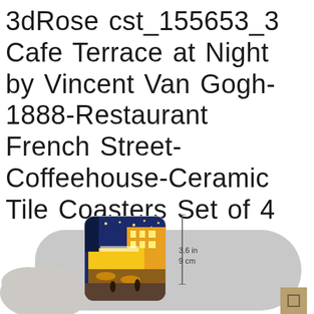3dRose cst_155653_3 Cafe Terrace at Night by Vincent Van Gogh-1888-Restaurant French Street-Coffeehouse-Ceramic Tile Coasters Set of 4
[Figure (photo): Product image showing a ceramic tile coaster featuring Van Gogh's Cafe Terrace at Night painting, with a dimension indicator showing 3.6 in / 9 cm, a hand holding the coaster, and a small tan square in the bottom right corner.]